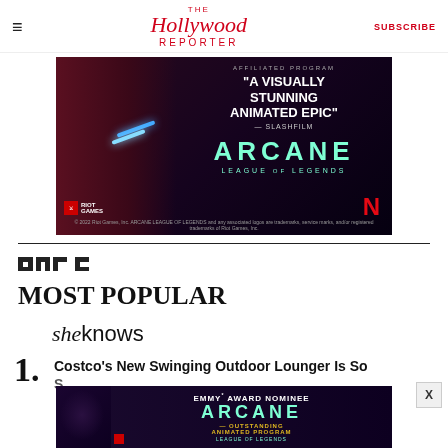The Hollywood Reporter | SUBSCRIBE
[Figure (photo): Arcane – League of Legends Netflix animated series advertisement. Dark background with armored character on left, text reads 'A Visually Stunning Animated Epic' – Slashfilm, ARCANE, League of Legends, Netflix logo, Riot Games logo. Copyright 2022 Riot Games.]
[Figure (logo): PMC logo]
MOST POPULAR
[Figure (logo): SheKnows logo]
1. Costco's New Swinging Outdoor Lounger Is So...
[Figure (photo): Arcane – Emmy Award Nominee, Outstanding Animated Program banner advertisement at bottom of page with close button X.]